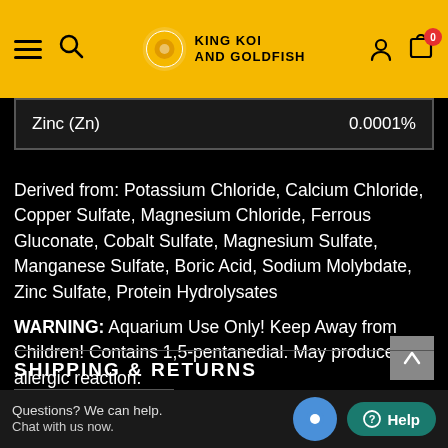KING KOI AND GOLDFISH
| Zinc (Zn) | 0.0001% |
| --- | --- |
Derived from: Potassium Chloride, Calcium Chloride, Copper Sulfate, Magnesium Chloride, Ferrous Gluconate, Cobalt Sulfate, Magnesium Sulfate, Manganese Sulfate, Boric Acid, Sodium Molybdate, Zinc Sulfate, Protein Hydrolysates
WARNING: Aquarium Use Only! Keep Away from Children! Contains 1,5-pentanedial. May produce an allergic reaction.
SHIPPING & RETURNS